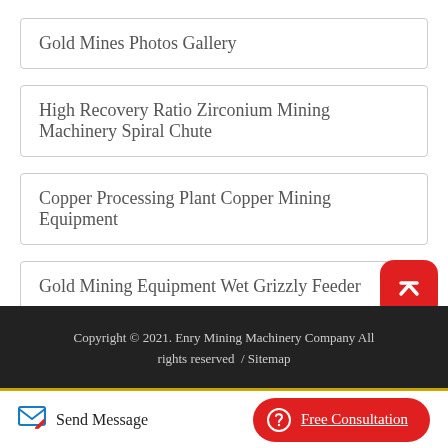Gold Mines Photos Gallery
High Recovery Ratio Zirconium Mining Machinery Spiral Chute
Copper Processing Plant Copper Mining Equipment
Gold Mining Equipment Wet Grizzly Feeder
Copyright © 2021. Enry Mining Machinery Company All rights reserved  /  Sitemap
Send Message
Free Consultation